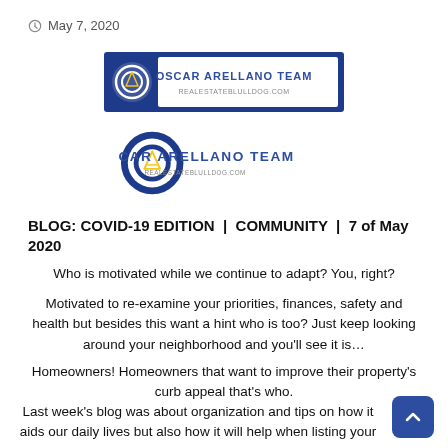May 7, 2020
[Figure (logo): Oscar Arellano Team logo banner with dark blue background]
[Figure (logo): Oscar Arellano Team logo with circular icon and text, realestateblulldog.com]
BLOG: COVID-19 EDITION | COMMUNITY | 7 of May 2020
Who is motivated while we continue to adapt? You, right?
Motivated to re-examine your priorities, finances, safety and health but besides this want a hint who is too? Just keep looking around your neighborhood and you'll see it is…
Homeowners! Homeowners that want to improve their property's curb appeal that's who.
Last week's blog was about organization and tips on how it aids our daily lives but also how it will help when listing your house. One of the points was fixing up, painting and curb